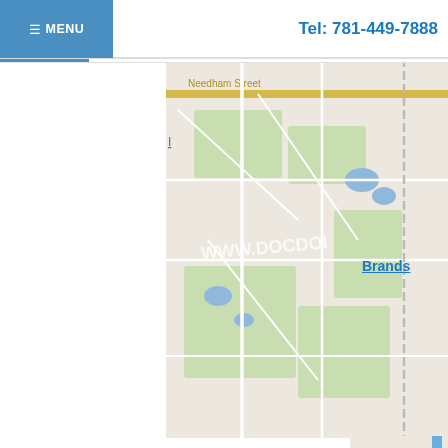≡ MENU    Tel: 781-449-7888
[Figure (map): Google Maps screenshot showing road network near Needham Street area, with watermark WWW.DOCDOI overlay]
Brands
[Figure (map): Google Maps screenshot showing location pin at 300 Chestnut St. Ste.1000, Massachusetts, 2492, with red map marker]
300 Chestnut St. Ste.1000, N...
Massachusetts, 2492, ...